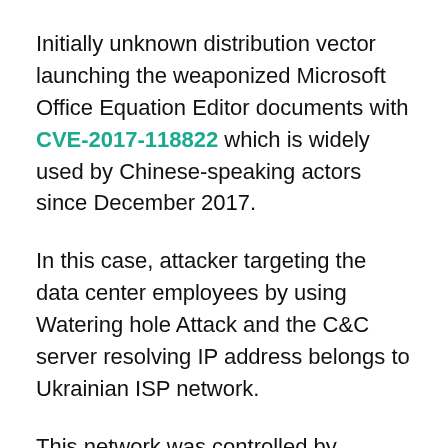Initially unknown distribution vector launching the weaponized Microsoft Office Equation Editor documents with CVE-2017-118822 which is widely used by Chinese-speaking actors since December 2017.
In this case, attacker targeting the data center employees by using Watering hole Attack and the C&C  server resolving IP address belongs to Ukrainian ISP network.
This network was controlled by Mikrotik router using firmware version 6.34.4 which was hacked to process the malware's HTTP requests for this Waterhole champaign.
Once the infection started, this module drops the 3